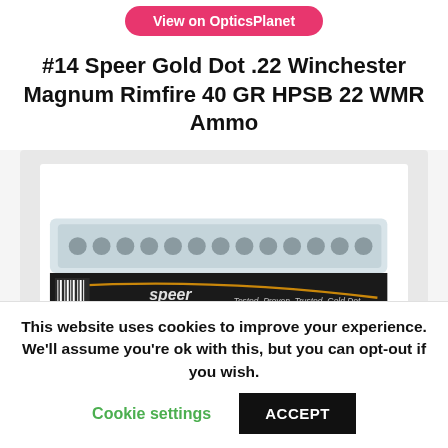View on OpticsPlanet
#14 Speer Gold Dot .22 Winchester Magnum Rimfire 40 GR HPSB 22 WMR Ammo
[Figure (photo): Photo of a Speer Gold Dot ammunition box in a clear plastic container. Black label reads: Speer Tested. Proven. Trusted. Gold Dot.]
This website uses cookies to improve your experience. We'll assume you're ok with this, but you can opt-out if you wish.
Cookie settings
ACCEPT